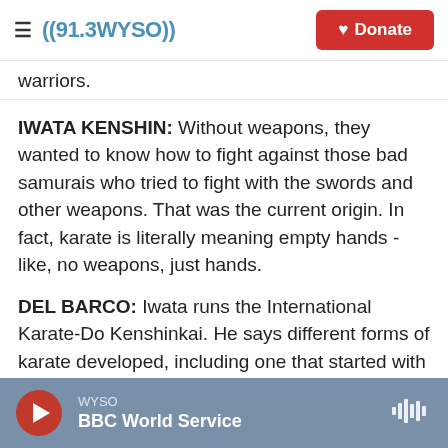((91.3 WYSO)) | Donate
warriors.
IWATA KENSHIN: Without weapons, they wanted to know how to fight against those bad samurais who tried to fight with the swords and other weapons. That was the current origin. In fact, karate is literally meaning empty hands - like, no weapons, just hands.
DEL BARCO: Iwata runs the International Karate-Do Kenshinkai. He says different forms of karate developed, including one that started with Okinawans using farm tools to fight. Later, they developed sticks and nunchucks.
WYSO | BBC World Service